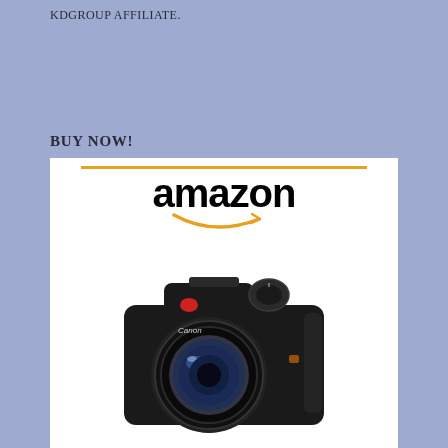KDGROUP AFFILIATE.
BUY NOW!
[Figure (logo): Amazon logo with orange horizontal bar above the word 'amazon' in black bold text and an orange smile/arrow beneath, with a Canon DSLR camera image below on a white background.]